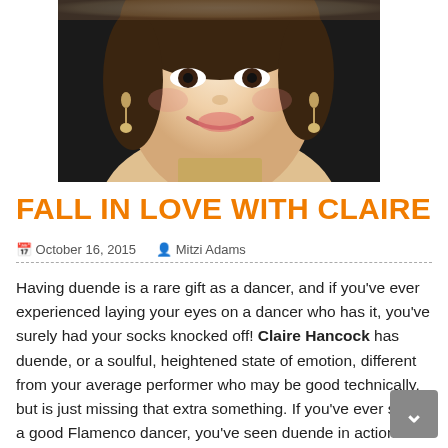[Figure (photo): Close-up photo of a smiling young woman with earrings, cropped to show face and upper shoulders against a dark background]
FALL IN LOVE WITH CLAIRE
📅 October 16, 2015   👤 Mitzi Adams
Having duende is a rare gift as a dancer, and if you've ever experienced laying your eyes on a dancer who has it, you've surely had your socks knocked off! Claire Hancock has duende, or a soulful, heightened state of emotion, different from your average performer who may be good technically, but is just missing that extra something. If you've ever seen a good Flamenco dancer, you've seen duende in action. Claire makes you yearn